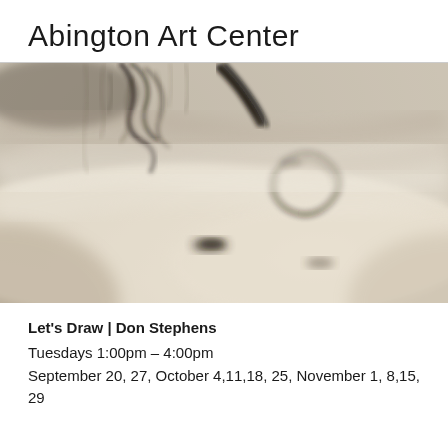Abington Art Center
[Figure (photo): Close-up artistic photograph of a drawing or sketch with dark ink marks on light-colored surface, showing abstract fluid or organic shapes, slightly blurred/bokeh effect]
Let's Draw | Don Stephens
Tuesdays  1:00pm – 4:00pm
September 20, 27, October 4,11,18, 25, November 1, 8,15, 29